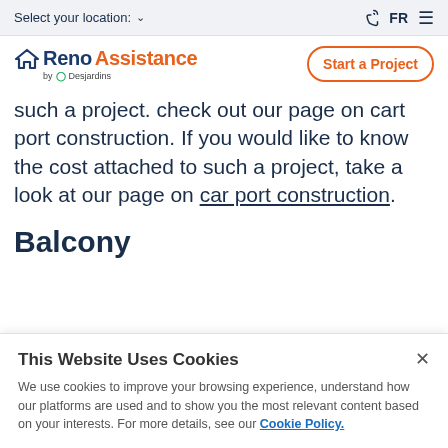Select your location: ∨  FR ≡
[Figure (logo): RenoAssistance by Desjardins logo with Start a Project button]
such a project. check out our page on cart port construction. If you would like to know the cost attached to such a project, take a look at our page on car port construction.
Balcony
This Website Uses Cookies
We use cookies to improve your browsing experience, understand how our platforms are used and to show you the most relevant content based on your interests. For more details, see our Cookie Policy.